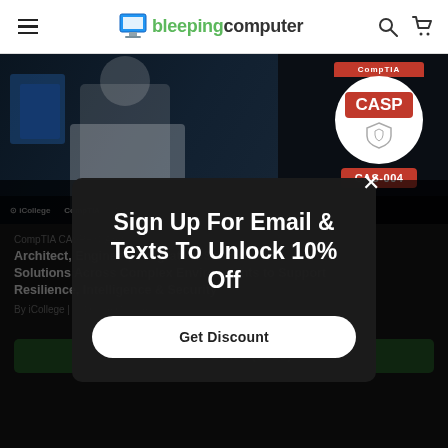BleepingComputer navigation bar with hamburger menu, logo, search and cart icons
[Figure (screenshot): iCollege CompTIA CASP+ CAS-004 course banner image showing cybersecurity professionals at computers with CompTIA CASP CAS-004 badge]
CompTIA CASP+ (CAS-004)
Architect, Engineer, Integrate & Secure Solutions Across Complex Environments to Support Resilience, Intelligence & Security
By iCollege | In Online Courses
Sign Up For Email & Texts To Unlock 10% Off
Get Discount
ADD TO CART ($169)